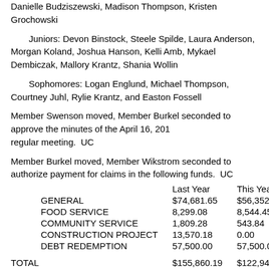Danielle Budziszewski, Madison Thompson, Kristen Grochowski
Juniors: Devon Binstock, Steele Spilde, Laura Anderson, Morgan Koland, Joshua Hanson, Kelli Amb, Mykael Dembiczak, Mallory Krantz, Shania Wollin
Sophomores: Logan Englund, Michael Thompson, Courtney Juhl, Rylie Krantz, and Easton Fossell
Member Swenson moved, Member Burkel seconded to approve the minutes of the April 16, 201 regular meeting.  UC
Member Burkel moved, Member Wikstrom seconded to authorize payment for claims in the following funds.  UC
|  | Last Year | This Year |
| --- | --- | --- |
| GENERAL | $74,681.65 | $56,352.22 |
| FOOD SERVICE | 8,299.08 | 8,544.45 |
| COMMUNITY SERVICE | 1,809.28 | 543.84 |
| CONSTRUCTION PROJECT | 13,570.18 | 0.00 |
| DEBT REDEMPTION | 57,500.00 | 57,500.00 |
TOTAL    $155,860.19    $122,940.51
Visitor present was Lisa Amb